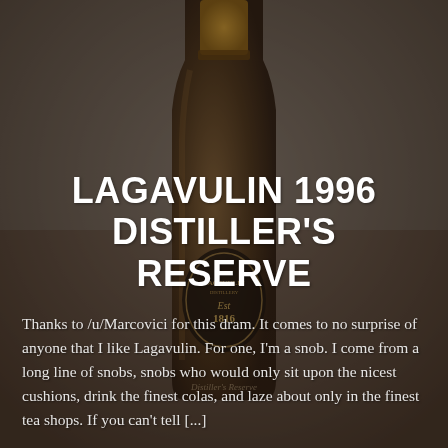[Figure (photo): Background photo of a dark Lagavulin whisky bottle against a grey/brown blurred background. The bottle shows the Lagavulin Distillery label with 'Est. 1816' visible.]
LAGAVULIN 1996 DISTILLER'S RESERVE
Thanks to /u/Marcovici for this dram. It comes to no surprise of anyone that I like Lagavulin. For one, I'm a snob. I come from a long line of snobs, snobs who would only sit upon the nicest cushions, drink the finest colas, and laze about only in the finest tea shops. If you can't tell [...]
Read More